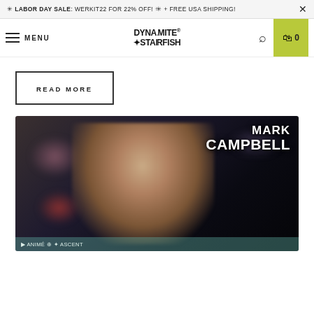* LABOR DAY SALE: WERKIT22 FOR 22% OFF! * + FREE USA SHIPPING! ×
MENU | DYNAMITE STARFISH | Search | Cart 0
READ MORE
[Figure (photo): Blurred photo of a person climbing or training against a dark background with colorful holds. Text overlay reads 'MARK CAMPBELL' in large bold white letters in the top right corner. A teal/green caption bar appears at the bottom of the image.]